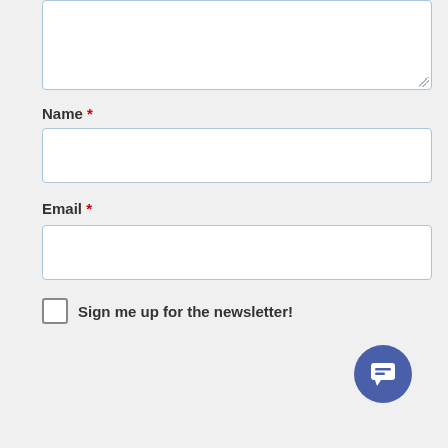[Figure (screenshot): Large text area input box (comment field), white with light blue border]
Name *
[Figure (screenshot): Name input text field, white with light blue border]
Email *
[Figure (screenshot): Email input text field, white with light blue border]
Sign me up for the newsletter!
[Figure (screenshot): POST COMMENT button, blue-grey rounded rectangle with white uppercase text, and a circular chat bubble icon in bottom-right corner]